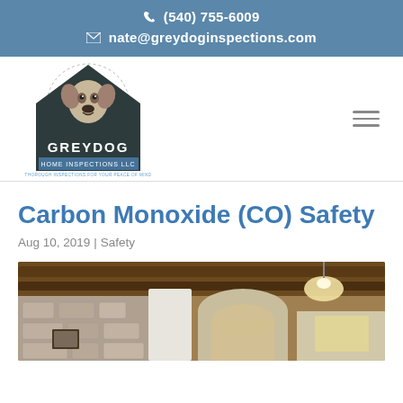(540) 755-6009
nate@greydoginspections.com
[Figure (logo): Greydog Home Inspections LLC logo with dog portrait in house-shaped emblem. Text: GREYDOG HOME INSPECTIONS LLC, THOROUGH INSPECTIONS FOR YOUR PEACE OF MIND]
Carbon Monoxide (CO) Safety
Aug 10, 2019 | Safety
[Figure (photo): Interior room photo with rustic stone walls, wooden ceiling beams, arched doorway, pendant light, and framed picture on wall]